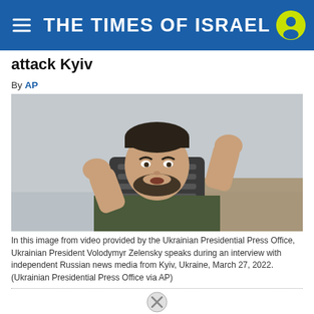THE TIMES OF ISRAEL
attack Kyiv
By AP
[Figure (photo): Ukrainian President Volodymyr Zelensky in a dark olive t-shirt, raising both fists, speaking during an interview, seated in a chair in front of a grey and wooden background.]
In this image from video provided by the Ukrainian Presidential Press Office, Ukrainian President Volodymyr Zelensky speaks during an interview with independent Russian news media from Kyiv, Ukraine, March 27, 2022. (Ukrainian Presidential Press Office via AP)